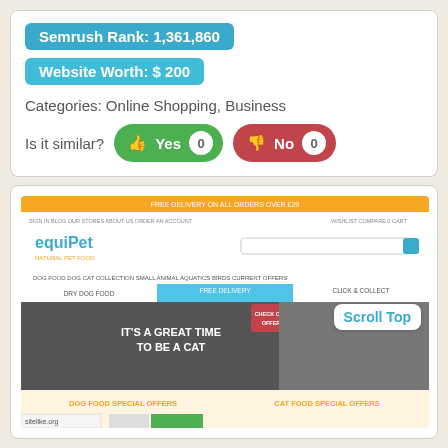Semrush Rank: 1,361,860
Website Worth: $ 200
Categories: Online Shopping, Business
Is it similar? Yes 0  No 0
[Figure (screenshot): Screenshot of equipet.co.uk website showing pet food products, navigation menu, and promotional banners including 'IT'S A GREAT TIME TO BE A CAT' and special offers for dog food and cat food.]
Like 0